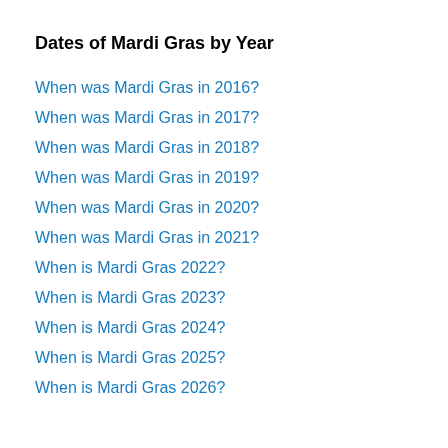Dates of Mardi Gras by Year
When was Mardi Gras in 2016?
When was Mardi Gras in 2017?
When was Mardi Gras in 2018?
When was Mardi Gras in 2019?
When was Mardi Gras in 2020?
When was Mardi Gras in 2021?
When is Mardi Gras 2022?
When is Mardi Gras 2023?
When is Mardi Gras 2024?
When is Mardi Gras 2025?
When is Mardi Gras 2026?